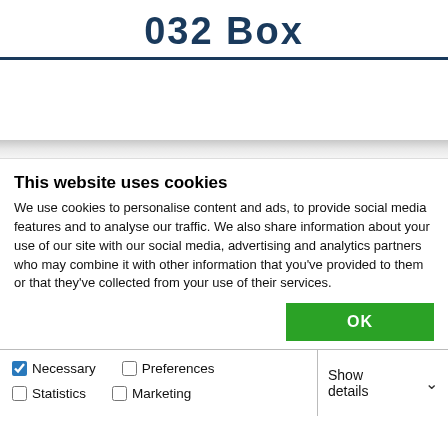032 Box
[Figure (screenshot): Blurred/obscured website content area below header]
This website uses cookies
We use cookies to personalise content and ads, to provide social media features and to analyse our traffic. We also share information about your use of our site with our social media, advertising and analytics partners who may combine it with other information that you've provided to them or that they've collected from your use of their services.
OK
Necessary  Preferences  Statistics  Marketing  Show details